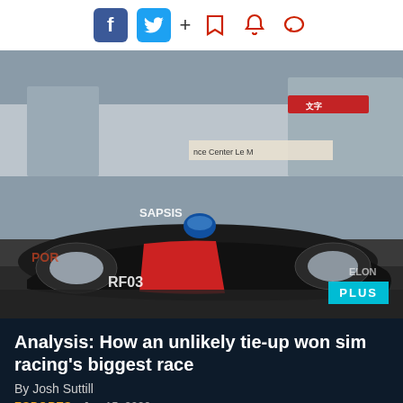[Figure (screenshot): Social media toolbar with Facebook, Twitter, plus sign, bookmark, bell, and chat icons]
[Figure (photo): Sim racing car (dark livery with red stripe and SAPSIS branding) on a race track, with 'PLUS' badge in lower right]
Analysis: How an unlikely tie-up won sim racing's biggest race
By Josh Suttill
ESPORTS   Jun 15, 2020
[Figure (photo): Partially visible second racing photo showing grandstands and a race car at bottom of page]